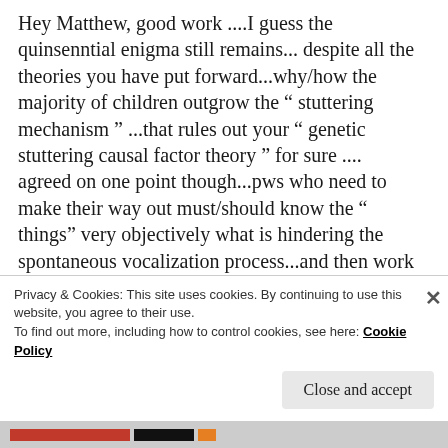Hey Matthew, good work ....I guess the quinsenntial enigma still remains... despite all the theories you have put forward...why/how the majority of children outgrow the " stuttering mechanism " ...that rules out your " genetic stuttering causal factor theory " for sure .... agreed on one point though...pws who need to make their way out must/should know the " things" very objectively what is hindering the spontaneous vocalization process...and then work their way out from there... mindfulness / being in the moment / being nonreactive/ Relaxation /letting go / being in the Zen State.. etc. all helps... I respect.. every Individual
Privacy & Cookies: This site uses cookies. By continuing to use this website, you agree to their use. To find out more, including how to control cookies, see here: Cookie Policy
Close and accept